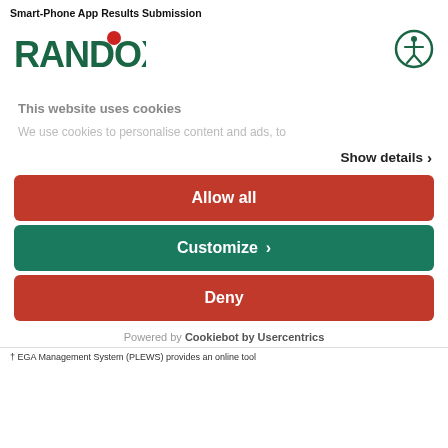Smart-Phone App Results Submission
[Figure (logo): RANDOX logo with red dot above the O, in dark green color]
[Figure (illustration): Accessibility icon: person with arms out in a circle, dark green color]
This website uses cookies
We use cookies to personalise content and ads, to
Show details >
Allow all
Customize >
Deny
Powered by Cookiebot by Usercentrics
† EGA Management System (PLEWS) provides an online tool